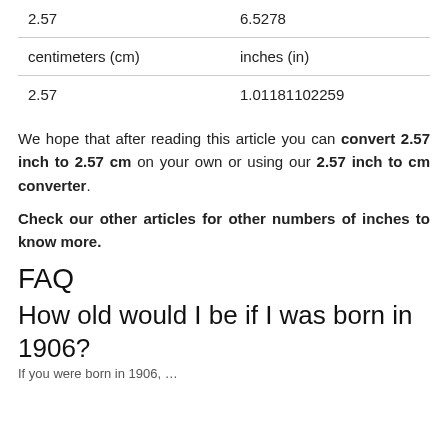|  |  |
| --- | --- |
| 2.57 | 6.5278 |
| centimeters (cm) | inches (in) |
| 2.57 | 1.01181102259 |
We hope that after reading this article you can convert 2.57 inch to 2.57 cm on your own or using our 2.57 inch to cm converter.
Check our other articles for other numbers of inches to know more.
FAQ
How old would I be if I was born in 1906?
If you were born in 1906, ...